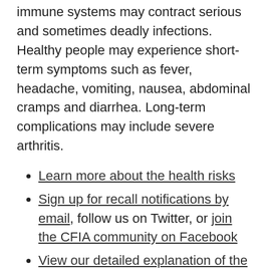immune systems may contract serious and sometimes deadly infections. Healthy people may experience short-term symptoms such as fever, headache, vomiting, nausea, abdominal cramps and diarrhea. Long-term complications may include severe arthritis.
Learn more about the health risks
Sign up for recall notifications by email, follow us on Twitter, or join the CFIA community on Facebook
View our detailed explanation of the food safety investigation and recall process